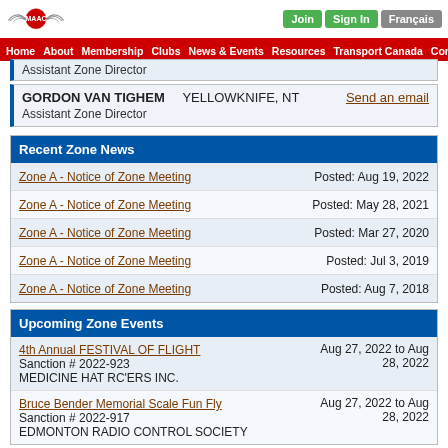MAAC website header with logo, Join, Sign In, Français buttons, and navigation: Home, About, Membership, Clubs, News & Events, Resources, Transport Canada, Contact Us
Assistant Zone Director
GORDON VAN TIGHEM   YELLOWKNIFE, NT   Send an email
Assistant Zone Director
Recent Zone News
Zone A - Notice of Zone Meeting   Posted: Aug 19, 2022
Zone A - Notice of Zone Meeting   Posted: May 28, 2021
Zone A - Notice of Zone Meeting   Posted: Mar 27, 2020
Zone A - Notice of Zone Meeting   Posted: Jul 3, 2019
Zone A - Notice of Zone Meeting   Posted: Aug 7, 2018
Upcoming Zone Events
4th Annual FESTIVAL OF FLIGHT   Aug 27, 2022 to Aug 28, 2022
Sanction # 2022-923
MEDICINE HAT RC'ERS INC.
Bruce Bender Memorial Scale Fun Fly   Aug 27, 2022 to Aug 28, 2022
Sanction # 2022-917
EDMONTON RADIO CONTROL SOCIETY